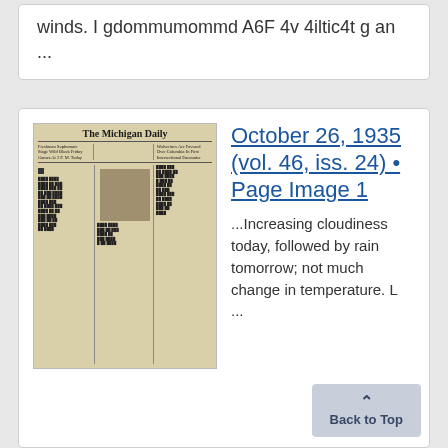winds. I gdommumommd A6F 4v 4iltic4t g an ...
[Figure (photo): Thumbnail image of The Michigan Daily newspaper front page]
October 26, 1935 (vol. 46, iss. 24) • Page Image 1
...Increasing cloudiness today, followed by rain tomorrow; not much change in temperature. L ...